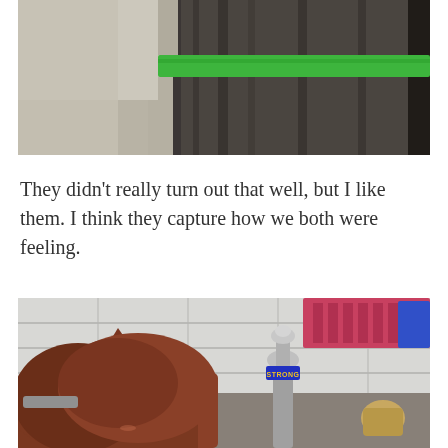[Figure (photo): Close-up photo of a cat's back with a green collar, viewed from above. The cat has tabby/dark fur and the image is cropped showing only the top portion of the cat and collar.]
They didn't really turn out that well, but I like them. I think they capture how we both were feeling.
[Figure (photo): Photo of a cat viewed from behind, sitting on a bathroom counter or sink ledge. There is a chrome faucet with a 'STRONG' label visible, white subway tile backsplash, and various items on the counter. The cat's ear is prominently visible.]